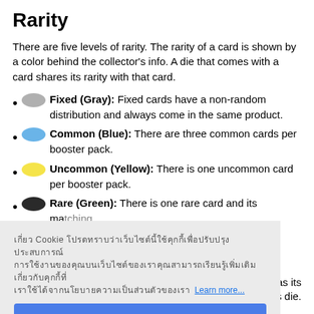Rarity
There are five levels of rarity. The rarity of a card is shown by a color behind the collector's info. A die that comes with a card shares its rarity with that card.
Fixed (Gray): Fixed cards have a non-random distribution and always come in the same product.
Common (Blue): There are three common cards per booster pack.
Uncommon (Yellow): There is one uncommon card per booster pack.
Rare (Green): There is one rare card and its matching die. [partially obscured]
[Figure (screenshot): Cookie consent overlay banner with Thai language text, 'Learn more...' link, and a blue 'Got it!' button]
Battlefields